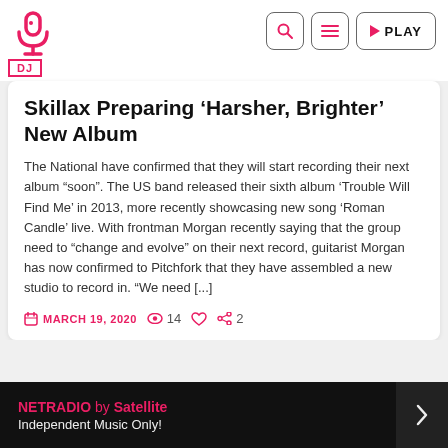DJ | NETRADIO — search, menu, PLAY
Skillax Preparing ‘Harsher, Brighter’ New Album
The National have confirmed that they will start recording their next album 'soon'. The US band released their sixth album 'Trouble Will Find Me' in 2013, more recently showcasing new song 'Roman Candle' live. With frontman Morgan recently saying that the group need to "change and evolve" on their next record, guitarist Morgan has now confirmed to Pitchfork that they have assembled a new studio to record in. "We need [...]
MARCH 19, 2020   14   2
NETRADIO by Satellite — Independent Music Only!